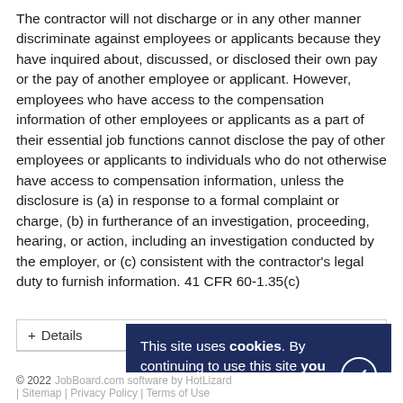The contractor will not discharge or in any other manner discriminate against employees or applicants because they have inquired about, discussed, or disclosed their own pay or the pay of another employee or applicant. However, employees who have access to the compensation information of other employees or applicants as a part of their essential job functions cannot disclose the pay of other employees or applicants to individuals who do not otherwise have access to compensation information, unless the disclosure is (a) in response to a formal complaint or charge, (b) in furtherance of an investigation, proceeding, hearing, or action, including an investigation conducted by the employer, or (c) consistent with the contractor's legal duty to furnish information. 41 CFR 60-1.35(c)
+ Details
This site uses cookies. By continuing to use this site you consent to our use of cookies.
© 2022 JobBoard.com software by HotLizard | Sitemap | Privacy Policy | Terms of Use